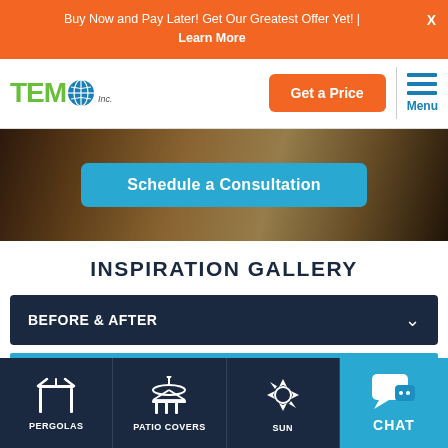Buy Now and Pay Later! Get Our Greatest Offer Yet! | Learn More
[Figure (logo): TEMO Inc. logo with green text and globe icon]
Get a Price
Menu
Schedule a Consultation
INSPIRATION GALLERY
BEFORE & AFTER
PERGOLAS
PATIO COVERS
SUN
CHAT